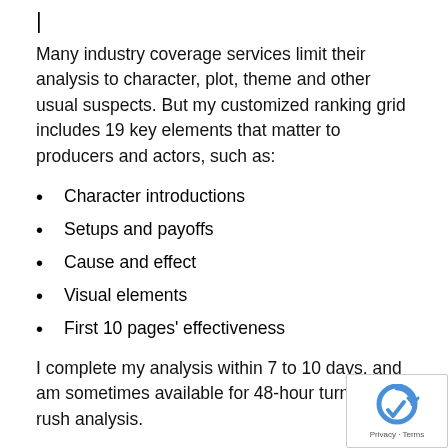Many industry coverage services limit their analysis to character, plot, theme and other usual suspects. But my customized ranking grid includes 19 key elements that matter to producers and actors, such as:
Character introductions
Setups and payoffs
Cause and effect
Visual elements
First 10 pages' effectiveness
I complete my analysis within 7 to 10 days, and am sometimes available for 48-hour turnaround rush analysis.